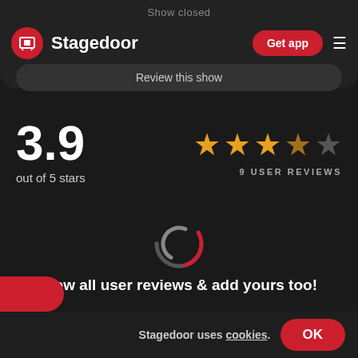Show closed
[Figure (logo): Stagedoor logo: red circle with chair/theater seat icon, brand name Stagedoor, Get app red pill button, hamburger menu]
Review this show
3.9 out of 5 stars
[Figure (other): Star rating: 4 gold stars and 1 gray star, 9 USER REVIEWS]
[Figure (other): Loading spinner: red and gray arc circle spinner]
View all user reviews & add yours too!
Stagedoor uses cookies.
OK